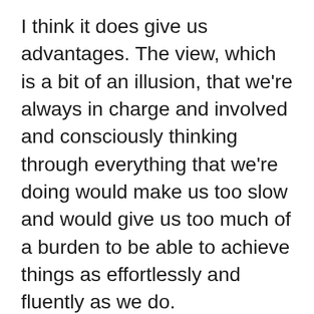I think it does give us advantages. The view, which is a bit of an illusion, that we're always in charge and involved and consciously thinking through everything that we're doing would make us too slow and would give us too much of a burden to be able to achieve things as effortlessly and fluently as we do.
Very often our skilful way of moving around the world and dealing with it – avoiding obstacles or greeting people or recognising them – is all happening in an unconscious and rather automatic way. And that's good because it frees up time for us to use our consciousness for higher levels of things like